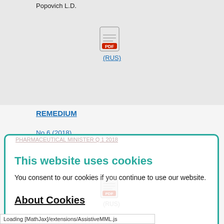Popovich L.D.
[Figure (other): PDF file icon with red PDF label]
(RUS)
REMEDIUM
No 6 (2018)
This website uses cookies
You consent to our cookies if you continue to use our website.
About Cookies
OK
REMEDIUM
No 9 (2020)
COMPARISON AND ANALYSIS OF THE FDA APPROVED ORPHANE DRUGS REGISTER AND THE VITAL AND ESSENTIAL DRUGS LIST OF THE RUSSIAN FEDERATION
Loading [MathJax]/extensions/AssistiveMML.js